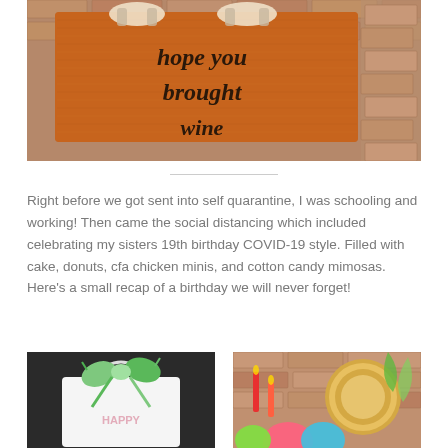[Figure (photo): Orange doormat on brick floor with text 'hope you brought wine', with sandal-clad feet visible at top]
Right before we got sent into self quarantine, I was schooling and working! Then came the social distancing which included celebrating my sisters 19th birthday COVID-19 style. Filled with cake, donuts, cfa chicken minis, and cotton candy mimosas. Here’s a small recap of a birthday we will never forget!
[Figure (photo): White bag with colorful green bow and happy birthday text]
[Figure (photo): Colorful party decorations with gold plate, candles, and paper fans against brick wall]